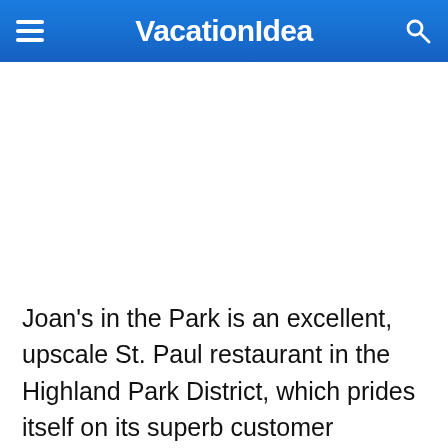VacationIdea
Joan's in the Park is an excellent, upscale St. Paul restaurant in the Highland Park District, which prides itself on its superb customer service. It specializes in seasonal North American fare and pairs its offerings with its excellent wine list.